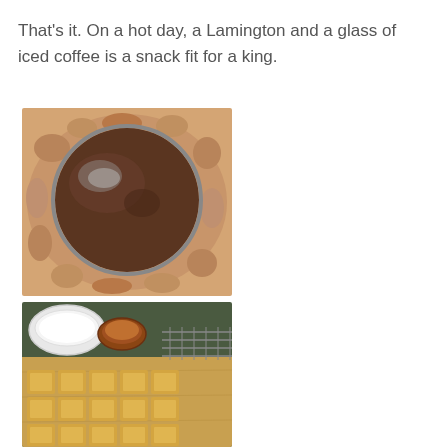That's it. On a hot day, a Lamington and a glass of iced coffee is a snack fit for a king.
[Figure (photo): Top-down view of a round baking tin with chocolate cake batter inside, placed in a larger tray with caramel-colored batter overflow around it.]
[Figure (photo): Lamington cake squares cut and arranged on a wooden board, with two small bowls of coating (white and brown) and a wire cooling rack in the background.]